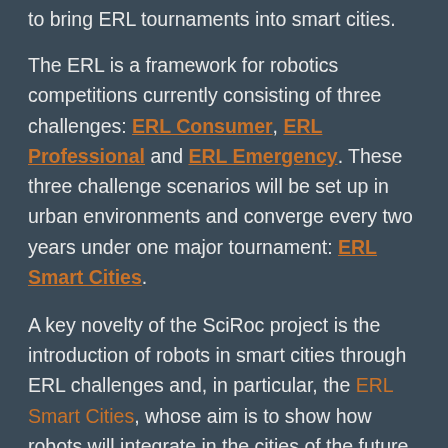to bring ERL tournaments into smart cities.
The ERL is a framework for robotics competitions currently consisting of three challenges: ERL Consumer, ERL Professional and ERL Emergency. These three challenge scenarios will be set up in urban environments and converge every two years under one major tournament: ERL Smart Cities.
A key novelty of the SciRoc project is the introduction of robots in smart cities through ERL challenges and, in particular, the ERL Smart Cities, whose aim is to show how robots will integrate in the cities of the future as physical agents living in them. This adds a new challenge to ERL, which will be pursued through the organisation of two Smart Cities Robotics Challenges (The SciRoc Challenges).